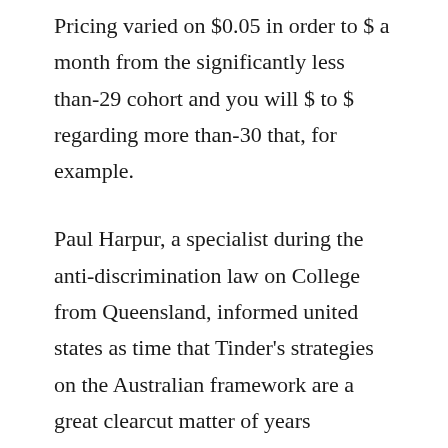Pricing varied on $0.05 in order to $ a month from the significantly less than-29 cohort and you will $ to $ regarding more than-30 that, for example.
Paul Harpur, a specialist during the anti-discrimination law on College from Queensland, informed united states as time that Tinder's strategies on the Australian framework are a great clearcut matter of years discrimination.